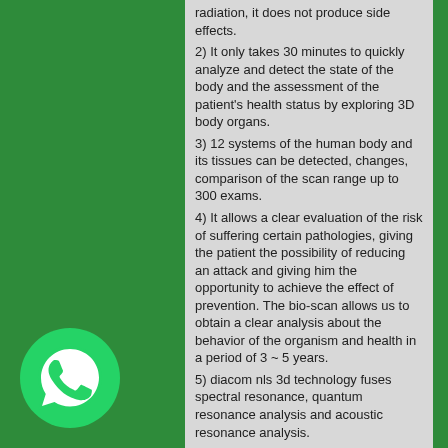radiation, it does not produce side effects.
2) It only takes 30 minutes to quickly analyze and detect the state of the body and the assessment of the patient's health status by exploring 3D body organs.
3) 12 systems of the human body and its tissues can be detected, changes, comparison of the scan range up to 300 exams.
4) It allows a clear evaluation of the risk of suffering certain pathologies, giving the patient the possibility of reducing an attack and giving him the opportunity to achieve the effect of prevention. The bio-scan allows us to obtain a clear analysis about the behavior of the organism and health in a period of 3 ~ 5 years.
5) diacom nls 3d technology fuses spectral resonance, quantum resonance analysis and acoustic resonance analysis.
6) Test different foods / products for health care affect the circumstances of the body.
7) Detection function and automatic check of 12 systems (heart, lung, brain, liver, etc ...) 256 reports of glands, cells etc, accurate prediction of 4,352 types of diseases based on the check of 120,000 body points users can see their organs now, in the
[Figure (logo): WhatsApp logo icon - white phone handset on green circle background]